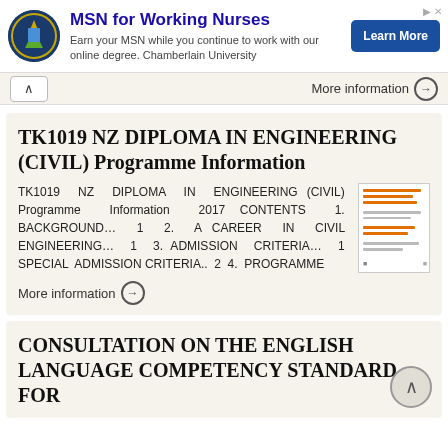[Figure (infographic): Ad banner for Chamberlain University MSN for Working Nurses with logo, text, and Learn More button]
More information →
TK1019 NZ DIPLOMA IN ENGINEERING (CIVIL) Programme Information
TK1019 NZ DIPLOMA IN ENGINEERING (CIVIL) Programme Information 2017 CONTENTS 1. BACKGROUND… 1 2. A CAREER IN CIVIL ENGINEERING… 1 3. ADMISSION CRITERIA… 1 SPECIAL ADMISSION CRITERIA.. 2 4. PROGRAMME
More information →
CONSULTATION ON THE ENGLISH LANGUAGE COMPETENCY STANDARD FOR